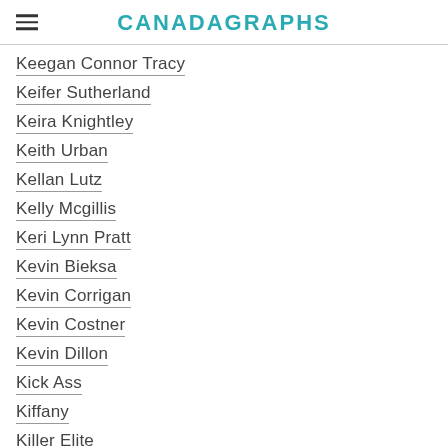CANADAGRAPHS
Keegan Connor Tracy
Keifer Sutherland
Keira Knightley
Keith Urban
Kellan Lutz
Kelly Mcgillis
Keri Lynn Pratt
Kevin Bieksa
Kevin Corrigan
Kevin Costner
Kevin Dillon
Kick Ass
Kiffany
Killer Elite